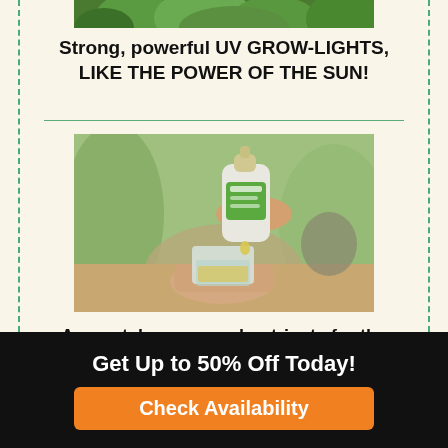[Figure (photo): Partial top image of green plants/lettuce under grow lights, cropped at top]
Strong, powerful UV GROW-LIGHTS, LIKE THE POWER OF THE SUN!
[Figure (photo): Hand holding a small dropper bottle pouring liquid nutrient into a small measuring cap, with blurred plants in background]
Accurately-measured nutrients for the healthiest plants!
Get Up to 50% Off Today!
Check Availability